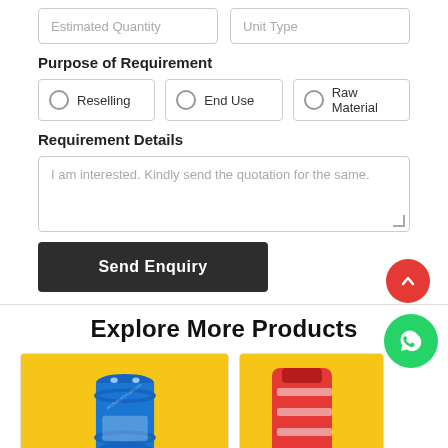Estimated Quantity
Unit Type
Purpose of Requirement
Reselling
End Use
Raw Material
Requirement Details
I am interested. Kindly send the quotation for the same.
Send Enquiry
Explore More Products
[Figure (photo): Blue drum/barrel on yellow background, product card on left]
[Figure (photo): Partially visible product on yellow background, product card on right]